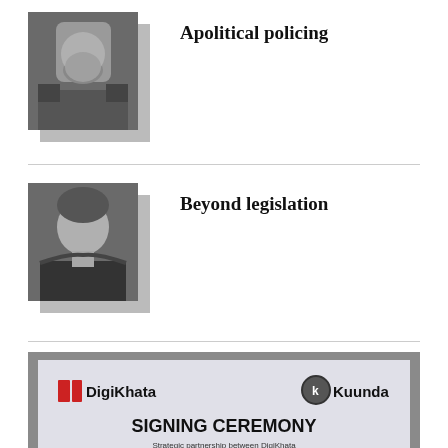[Figure (photo): Black and white headshot of a man in police/military uniform with beard]
Apolitical policing
[Figure (photo): Black and white headshot of a woman with dark hair]
Beyond legislation
[Figure (photo): Color photograph of a DigiKhata and Kuunda signing ceremony banner with two men seated at a table]